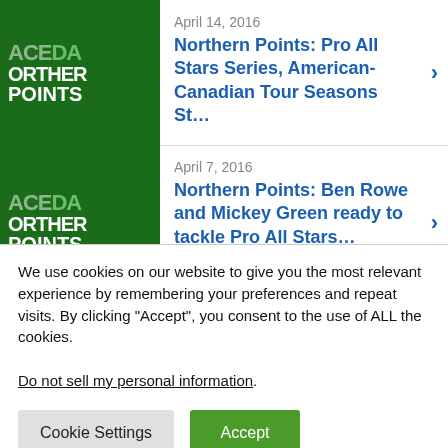April 14, 2016 - Northern Points: Pro All Stars Series, American-Canadian Tour Seasons St...
April 7, 2016 - Northern Points: Ben Rowe and Mickey Green ready to tackle Pro All Stars...
September 20, 2015 - Back On Track: Johnny Clark Wins 4th Career Pro All Stars Series 300 At...
August 31, 2015 - Oxford 250 Notebook: Seth Holbrook...
We use cookies on our website to give you the most relevant experience by remembering your preferences and repeat visits. By clicking “Accept”, you consent to the use of ALL the cookies.
Do not sell my personal information.